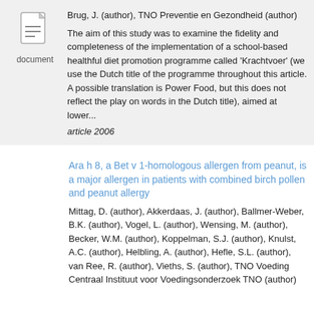[Figure (illustration): Document icon with lines representing text, labeled 'document' below]
Brug, J. (author), TNO Preventie en Gezondheid (author)
The aim of this study was to examine the fidelity and completeness of the implementation of a school-based healthful diet promotion programme called 'Krachtvoer' (we use the Dutch title of the programme throughout this article. A possible translation is Power Food, but this does not reflect the play on words in the Dutch title), aimed at lower...
article 2006
Ara h 8, a Bet v 1-homologous allergen from peanut, is a major allergen in patients with combined birch pollen and peanut allergy
Mittag, D. (author), Akkerdaas, J. (author), Ballmer-Weber, B.K. (author), Vogel, L. (author), Wensing, M. (author), Becker, W.M. (author), Koppelman, S.J. (author), Knulst, A.C. (author), Helbling, A. (author), Hefle, S.L. (author), van Ree, R. (author), Vieths, S. (author), TNO Voeding Centraal Instituut voor Voedingsonderzoek TNO (author)
[Figure (illustration): Document icon with lines representing text, labeled 'document' below]